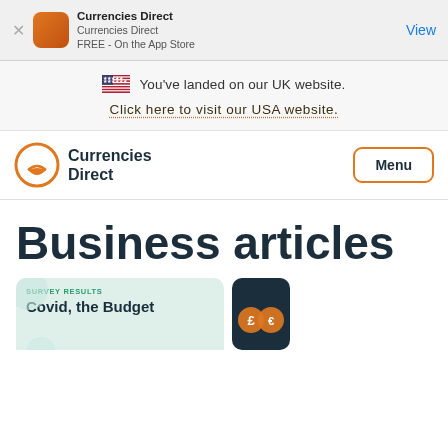Currencies Direct
Currencies Direct
FREE - On the App Store
View
You've landed on our UK website.
Click here to visit our USA website.
[Figure (logo): Currencies Direct logo with orange circular icon and text 'Currencies Direct']
Menu
Business articles
[Figure (illustration): Card showing 'SURVEY RESULTS' tag and 'Covid, the Budget' title on a light green background]
[Figure (illustration): Card showing currency icons on dark teal background]